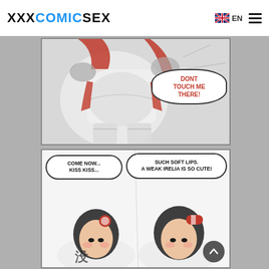XXXCOMICSEX  EN  [menu]
[Figure (illustration): Anime comic panel showing a character from behind in white shorts and red jacket, with a speech bubble saying DONT TOUCH ME THERE!]
[Figure (illustration): Anime comic panel showing two characters with speech bubbles: COME NOW... KISS KISS... and SUCH SOFT LIPS. A WEAK IRELIA IS SO CUTE!]